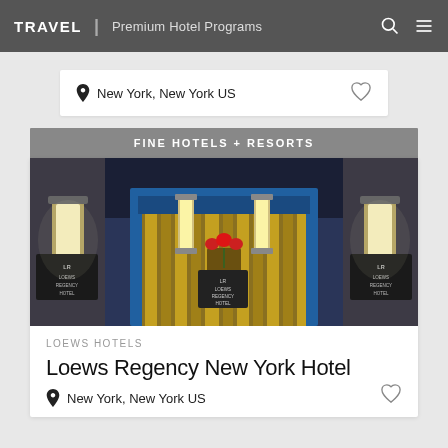TRAVEL | Premium Hotel Programs
New York, New York US
FINE HOTELS + RESORTS
[Figure (photo): Hotel entrance of Loews Regency New York Hotel: illuminated wall sconces flank a blue-framed doorway with gold/brass vertical decorative panels and a red floral arrangement in the center. Two Loews Regency Hotel signs visible.]
LOEWS HOTELS
Loews Regency New York Hotel
New York, New York US